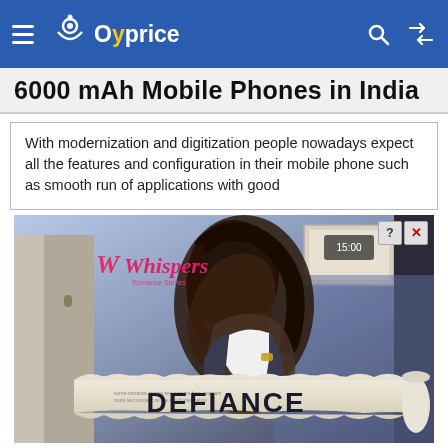Oyprice
6000 mAh Mobile Phones in India
With modernization and digitization people nowadays expect all the features and configuration in their mobile phone such as smooth run of applications with good
[Figure (photo): Advertisement banner for 'Whispers' romance stories app featuring the book 'DEFIANCE'. Shows a romantic couple in an embrace with the book title displayed prominently at the bottom on a torn paper design.]